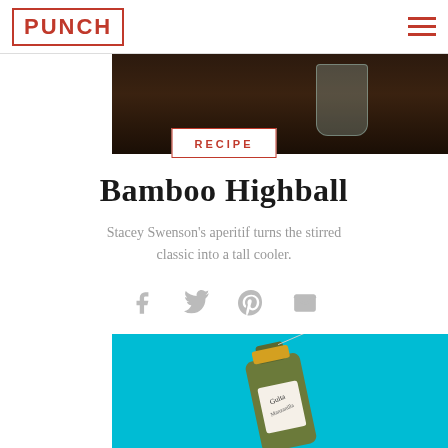PUNCH
[Figure (photo): Dark background photo showing a glass on a wooden surface, top of page hero image]
RECIPE
Bamboo Highball
Stacey Swenson's aperitif turns the stirred classic into a tall cooler.
[Figure (infographic): Social sharing icons: Facebook, Twitter, Pinterest, Email]
[Figure (photo): Photo of a wine/vermouth bottle on a teal/cyan background]